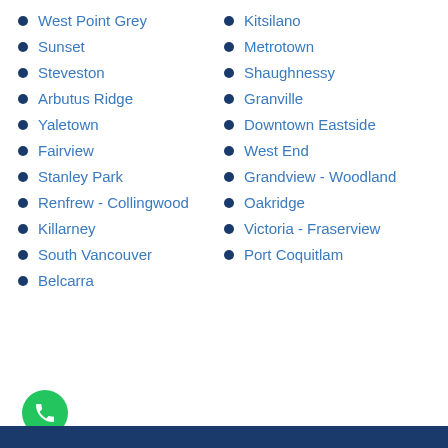West Point Grey
Sunset
Steveston
Arbutus Ridge
Yaletown
Fairview
Stanley Park
Renfrew - Collingwood
Killarney
South Vancouver
Belcarra
Kitsilano
Metrotown
Shaughnessy
Granville
Downtown Eastside
West End
Grandview - Woodland
Oakridge
Victoria - Fraserview
Port Coquitlam